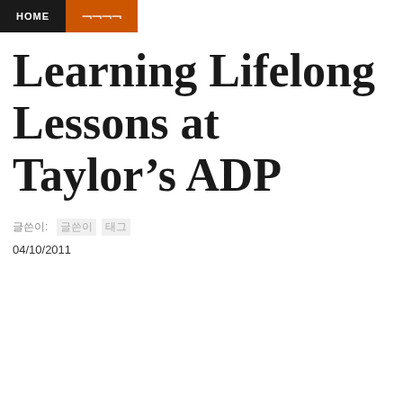HOME | 카테고리
Learning Lifelong Lessons at Taylor's ADP
글쓴이: 카테고리 태그
04/10/2011